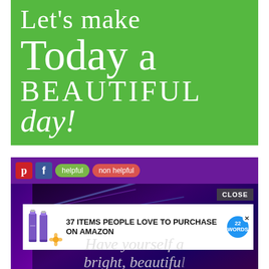[Figure (illustration): Green background motivational quote image with white serif text reading 'Let's make Today a BEAUTIFUL day!']
[Figure (screenshot): Social media sharing toolbar with Pinterest and Facebook icons, 'helpful' and 'non helpful' buttons, overlaid on a purple abstract background image with partial text 'Have yourself a bright, beautiful...' and an advertisement overlay for '37 items people love to purchase on Amazon' with a CLOSE button]